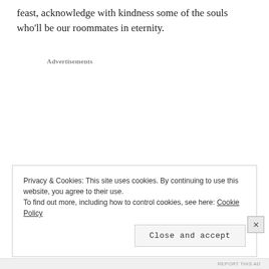feast, acknowledge with kindness some of the souls who'll be our roommates in eternity.
Advertisements
Privacy & Cookies: This site uses cookies. By continuing to use this website, you agree to their use.
To find out more, including how to control cookies, see here: Cookie Policy
Close and accept
REPORT THIS AD